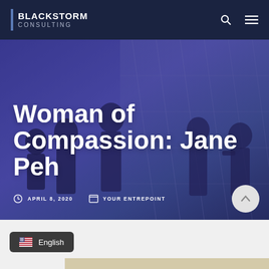BLACKSTORM CONSULTING
Woman of Compassion: Jane Peh
APRIL 8, 2020
YOUR ENTREPOINT
English